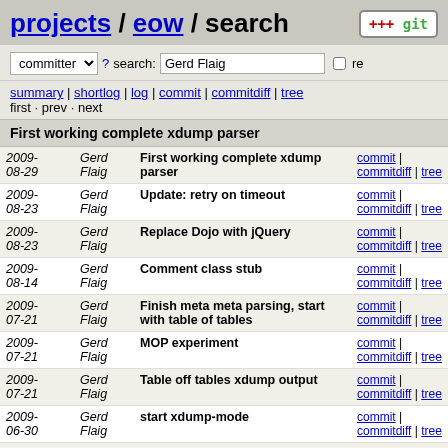projects / eow / search
committer ? search: Gerd Flaig re
summary | shortlog | log | commit | commitdiff | tree
first · prev · next
First working complete xdump parser
| Date | Author | Message | Links |
| --- | --- | --- | --- |
| 2009-08-29 | Gerd Flaig | First working complete xdump parser | commit | commitdiff | tree |
| 2009-08-23 | Gerd Flaig | Update: retry on timeout | commit | commitdiff | tree |
| 2009-08-23 | Gerd Flaig | Replace Dojo with jQuery | commit | commitdiff | tree |
| 2009-08-14 | Gerd Flaig | Comment class stub | commit | commitdiff | tree |
| 2009-07-21 | Gerd Flaig | Finish meta meta parsing, start with table of tables | commit | commitdiff | tree |
| 2009-07-21 | Gerd Flaig | MOP experiment | commit | commitdiff | tree |
| 2009-07-21 | Gerd Flaig | Table off tables xdump output | commit | commitdiff | tree |
| 2009-06-30 | Gerd Flaig | start xdump-mode | commit | commitdiff | tree |
| 2009- | Gerd Flaig | xdump package | commit | commitdiff | tree |